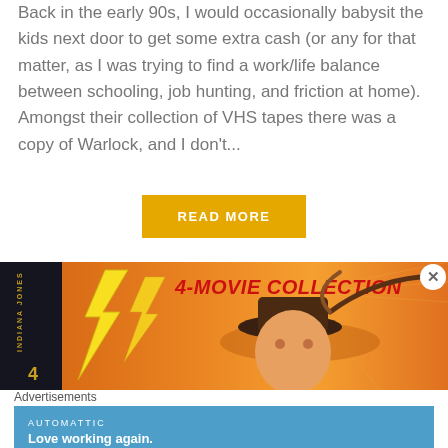Back in the early 90s, I would occasionally babysit the kids next door to get some extra cash (or any for that matter, as I was trying to find a work/life balance between schooling, job hunting, and friction at home). Amongst their collection of VHS tapes there was a copy of Warlock, and I don't...
READ MORE
[Figure (illustration): Indiana Jones 4-Movie Collection advertisement banner showing movie artwork with Indiana Jones character holding a whip, wearing his iconic hat, against an orange background with lightning bolt graphics and 4-MOVIE COLLECTION text in red italic font. Left side has a dark vertical panel.]
Advertisements
[Figure (screenshot): Automattic advertisement with blue background showing 'AUTOMATTIC' in small caps and tagline 'Love working again.' in bold white text.]